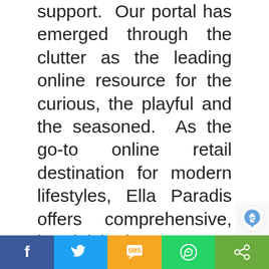support.  Our portal has emerged through the clutter as the leading online resource for the curious, the playful and the seasoned.  As the go-to online retail destination for modern lifestyles, Ella Paradis offers comprehensive, handpicked collaborations from the world's most forward-minded brands.  Our knowledgeable team carefully selects original offerings to ensure the highest quality and appeal to a wide range of personalities and enjoyments.  This dedication and the support of our phenomenal customer base has he
[Figure (other): Social sharing bar at the bottom with Facebook, Twitter, SMS, WhatsApp, and share icons]